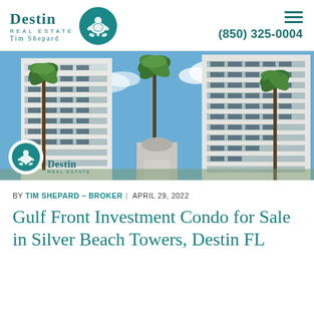[Figure (logo): Destin Real Estate logo with turtle circle and Tim Shepard name, plus phone number (850) 325-0004 and hamburger menu icon]
[Figure (photo): Photograph of Silver Beach Towers condominium buildings with palm trees and blue sky. Destin Real Estate watermark logo overlaid in bottom-left corner.]
BY TIM SHEPARD – BROKER | APRIL 29, 2022
Gulf Front Investment Condo for Sale in Silver Beach Towers, Destin FL